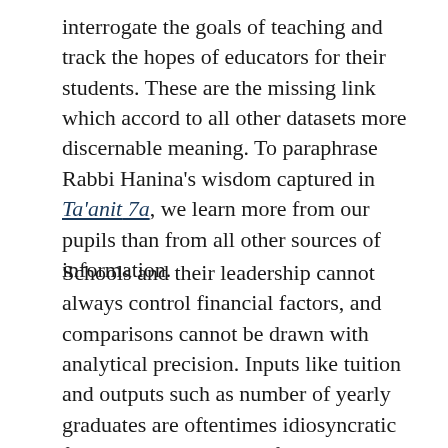interrogate the goals of teaching and track the hopes of educators for their students. These are the missing link which accord to all other datasets more discernable meaning. To paraphrase Rabbi Hanina's wisdom captured in Ta'anit 7a, we learn more from our pupils than from all other sources of information.
Schools and their leadership cannot always control financial factors, and comparisons cannot be drawn with analytical precision. Inputs like tuition and outputs such as number of yearly graduates are oftentimes idiosyncratic figures and can distract from the core questions of day school education. Analogically speaking, this information focuses on the yield of a harvest and the resources used turn the soil. These factors are critically important, but they won't tell us all that we need about the quality of the content...